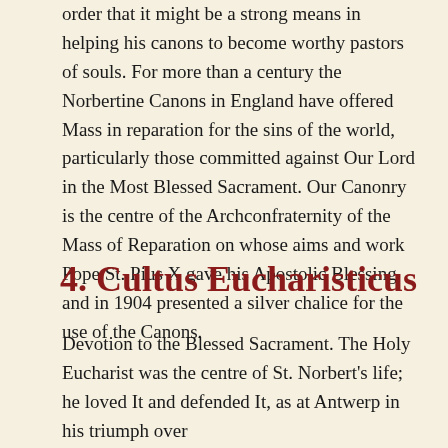order that it might be a strong means in helping his canons to become worthy pastors of souls. For more than a century the Norbertine Canons in England have offered Mass in reparation for the sins of the world, particularly those committed against Our Lord in the Most Blessed Sacrament. Our Canonry is the centre of the Archconfraternity of the Mass of Reparation on whose aims and work Pope St. Pius X gave his Apostolic Blessing and in 1904 presented a silver chalice for the use of the Canons.
4. Cultus Eucharisticus
Devotion to the Blessed Sacrament. The Holy Eucharist was the centre of St. Norbert's life; he loved It and defended It, as at Antwerp in his triumph over